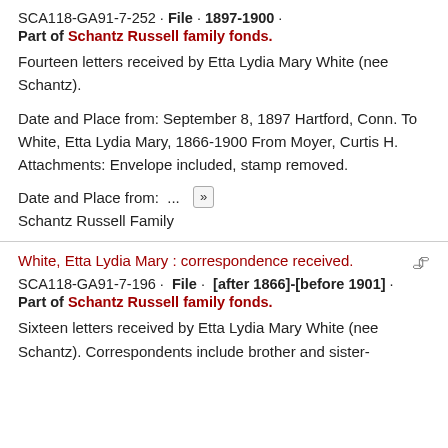SCA118-GA91-7-252 · File · 1897-1900 · Part of Schantz Russell family fonds.
Fourteen letters received by Etta Lydia Mary White (nee Schantz).
Date and Place from: September 8, 1897 Hartford, Conn. To White, Etta Lydia Mary, 1866-1900 From Moyer, Curtis H. Attachments: Envelope included, stamp removed.
Date and Place from: ... »
Schantz Russell Family
White, Etta Lydia Mary : correspondence received.
SCA118-GA91-7-196 · File · [after 1866]-[before 1901] · Part of Schantz Russell family fonds.
Sixteen letters received by Etta Lydia Mary White (nee Schantz). Correspondents include brother and sister-